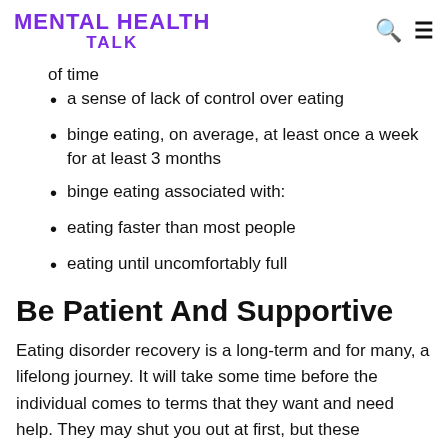MENTAL HEALTH TALK
of time
a sense of lack of control over eating
binge eating, on average, at least once a week for at least 3 months
binge eating associated with:
eating faster than most people
eating until uncomfortably full
Be Patient And Supportive
Eating disorder recovery is a long-term and for many, a lifelong journey. It will take some time before the individual comes to terms that they want and need help. They may shut you out at first, but these conversations are